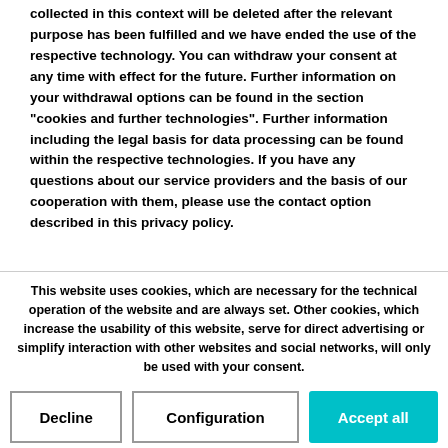collected in this context will be deleted after the relevant purpose has been fulfilled and we have ended the use of the respective technology. You can withdraw your consent at any time with effect for the future. Further information on your withdrawal options can be found in the section "cookies and further technologies". Further information including the legal basis for data processing can be found within the respective technologies. If you have any questions about our service providers and the basis of our cooperation with them, please use the contact option described in this privacy policy.
This website uses cookies, which are necessary for the technical operation of the website and are always set. Other cookies, which increase the usability of this website, serve for direct advertising or simplify interaction with other websites and social networks, will only be used with your consent.